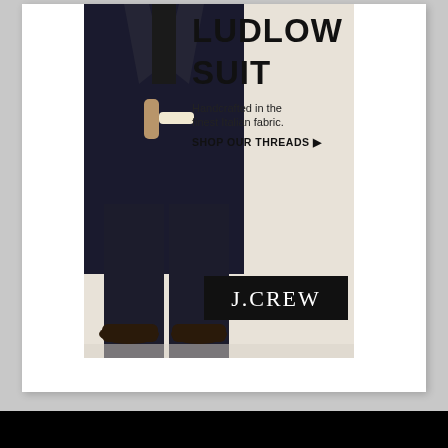[Figure (advertisement): J.Crew advertisement for the Ludlow Suit. Shows a man in a dark navy/black suit walking. Text overlay reads 'LUDLOW SUIT', 'Handcrafted in the finest Italian fabric.', 'SHOP OUR THREADS ▶'. J.CREW logo in black rectangle at bottom right of ad.]